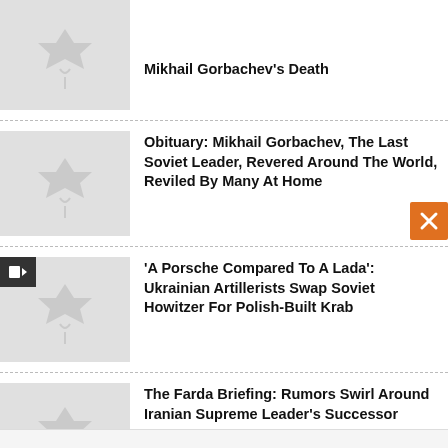Mikhail Gorbachev's Death
Obituary: Mikhail Gorbachev, The Last Soviet Leader, Revered Around The World, Reviled By Many At Home
'A Porsche Compared To A Lada': Ukrainian Artillerists Swap Soviet Howitzer For Polish-Built Krab
The Farda Briefing: Rumors Swirl Around Iranian Supreme Leader's Successor